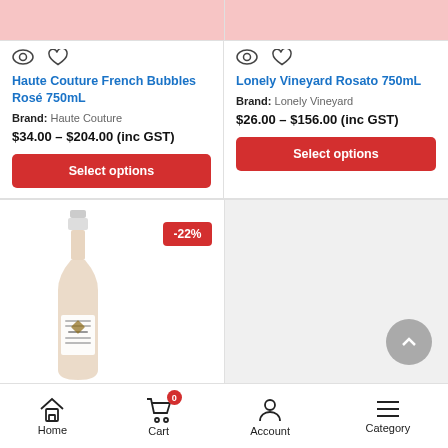[Figure (screenshot): Top pink product image banners for two wine products]
[Figure (screenshot): Eye and heart icons for Haute Couture French Bubbles Rosé 750mL product card]
Haute Couture French Bubbles Rosé 750mL
Brand: Haute Couture
$34.00 – $204.00 (inc GST)
Select options
[Figure (screenshot): Eye and heart icons for Lonely Vineyard Rosato 750mL product card]
Lonely Vineyard Rosato 750mL
Brand: Lonely Vineyard
$26.00 – $156.00 (inc GST)
Select options
[Figure (photo): Wine bottle (rosé) with -22% discount badge in second row left card]
[Figure (screenshot): Grey placeholder image area in second row right card with scroll-to-top button]
Home  Cart  Account  Category